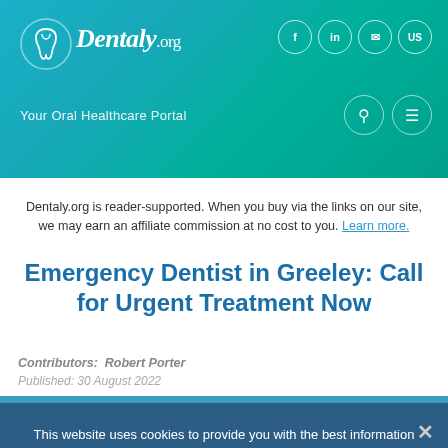Dentaly.org — Your Oral Healthcare Portal
Dentaly.org is reader-supported. When you buy via the links on our site, we may earn an affiliate commission at no cost to you. Learn more.
Emergency Dentist in Greeley: Call for Urgent Treatment Now
Contributors: Robert Porter
Published: 30 August 2022
Find an emergency dentist available now in Greeley, Co
This website uses cookies to provide you with the best information and services possible. Using this website means that you're ok with this.